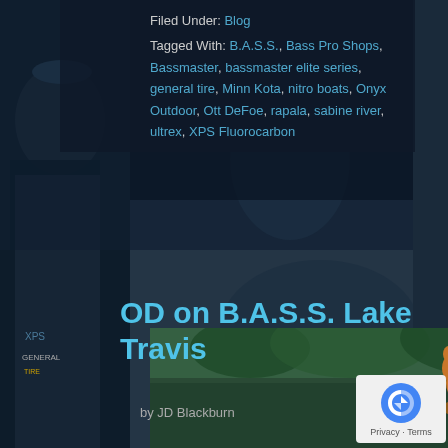Filed Under: Blog
Tagged With: B.A.S.S., Bass Pro Shops, Bassmaster, bassmaster elite series, general tire, Minn Kota, nitro boats, Onyx Outdoor, Ott DeFoe, rapala, sabine river, ultrex, XPS Fluorocarbon
OD on B.A.S.S. Lake Travis
by JD Blackburn
[Figure (logo): OD on B.A.S.S. logo with cartoon beaver holding a fishing rod, white italic stylized text on green/dark background]